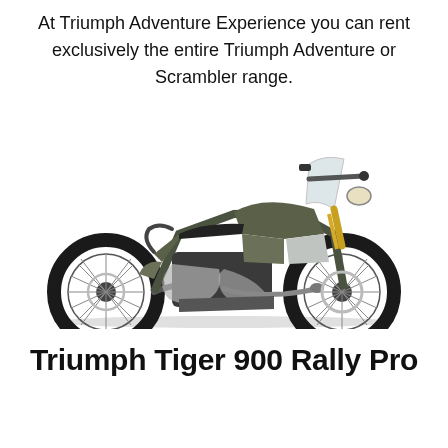At Triumph Adventure Experience you can rent exclusively the entire Triumph Adventure or Scrambler range.
[Figure (photo): Product photo of a Triumph Tiger 900 Rally Pro motorcycle in olive green and silver color, shown from the left side on a white background.]
Triumph Tiger 900 Rally Pro